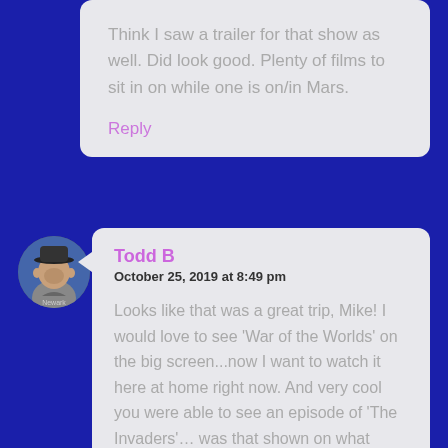Think I saw a trailer for that show as well. Did look good. Plenty of films to sit in on while one is on/in Mars.
Reply
[Figure (photo): Circular avatar photo of a person wearing a baseball cap]
Todd B
October 25, 2019 at 8:49 pm
Looks like that was a great trip, Mike! I would love to see 'War of the Worlds' on the big screen...now I want to watch it here at home right now. And very cool you were able to see an episode of 'The Invaders'... was that shown on what could be